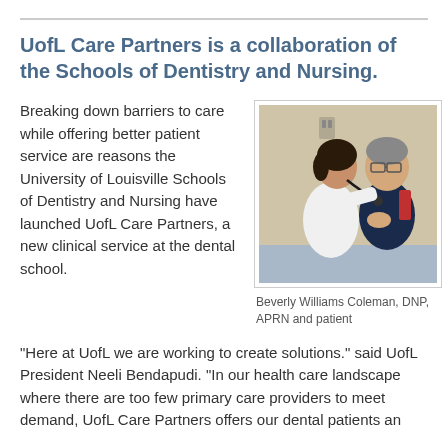UofL Care Partners is a collaboration of the Schools of Dentistry and Nursing.
Breaking down barriers to care while offering better patient service are reasons the University of Louisville Schools of Dentistry and Nursing have launched UofL Care Partners, a new clinical service at the dental school.
[Figure (photo): A nurse practitioner in a white coat uses a stethoscope to examine a seated male patient wearing a dark shirt with red accents.]
Beverly Williams Coleman, DNP, APRN and patient
"Here at UofL we are working to create solutions." said UofL President Neeli Bendapudi. "In our health care landscape where there are too few primary care providers to meet demand, UofL Care Partners offers our dental patients an